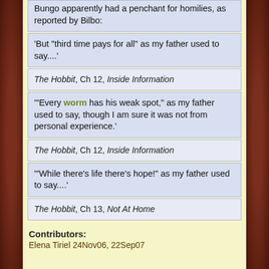Bungo apparently had a penchant for homilies, as reported by Bilbo:
'But "third time pays for all" as my father used to say....'
The Hobbit, Ch 12, Inside Information
'"Every worm has his weak spot," as my father used to say, though I am sure it was not from personal experience.'
The Hobbit, Ch 12, Inside Information
'"While there's life there's hope!" as my father used to say....'
The Hobbit, Ch 13, Not At Home
Contributors:
Elena Tiriel 24Nov06, 22Sep07